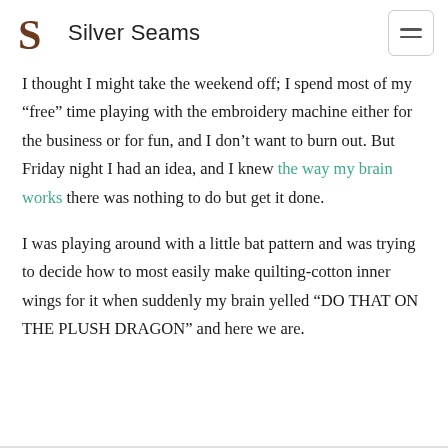Silver Seams
I thought I might take the weekend off; I spend most of my “free” time playing with the embroidery machine either for the business or for fun, and I don’t want to burn out. But Friday night I had an idea, and I knew the way my brain works there was nothing to do but get it done.
I was playing around with a little bat pattern and was trying to decide how to most easily make quilting-cotton inner wings for it when suddenly my brain yelled “DO THAT ON THE PLUSH DRAGON” and here we are.